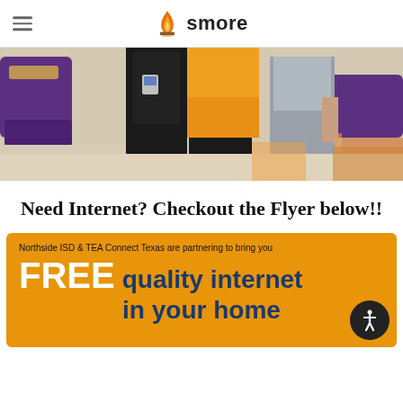smore
[Figure (photo): Two or three people standing in a school hallway with purple benches and colorful floor tiles. One person is wearing an orange/yellow shirt.]
Need Internet? Checkout the Flyer below!!
[Figure (infographic): Orange flyer with text: 'Northside ISD & TEA Connect Texas are partnering to bring you FREE quality internet in your home']